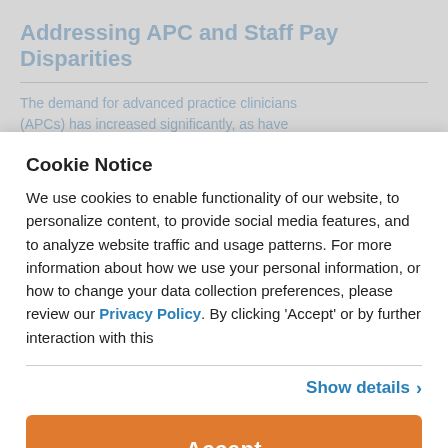Addressing APC and Staff Pay Disparities
The demand for advanced practice clinicians (APCs) has increased significantly, as have
Cookie Notice
We use cookies to enable functionality of our website, to personalize content, to provide social media features, and to analyze website traffic and usage patterns. For more information about how we use your personal information, or how to change your data collection preferences, please review our Privacy Policy. By clicking 'Accept' or by further interaction with this
Show details >
Accept
Becker's Hospital Review A... Things to Know About Advanced Practice Clinicians Based on SullivanCotter White Paper
Physician shortages are prompting hospitals and